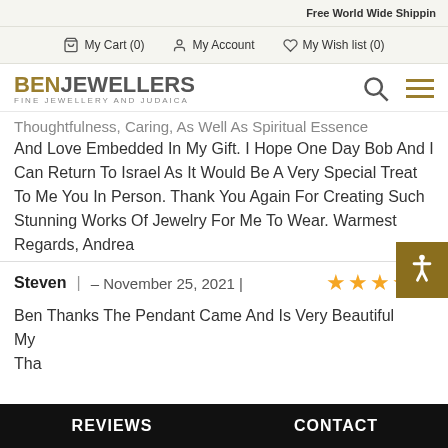Free World Wide Shippin
My Cart (0)  My Account  My Wish list (0)
BEN JEWELLERS FINE JEWELLERY AND JUDAICA
Thoughtfulness, Caring, As Well As Spiritual Essence And Love Embedded In My Gift. I Hope One Day Bob And I Can Return To Israel As It Would Be A Very Special Treat To Me You In Person. Thank You Again For Creating Such Stunning Works Of Jewelry For Me To Wear. Warmest Regards, Andrea
Steven | – November 25, 2021 |  ★★★★★
Ben Thanks The Pendant Came And Is Very Beautiful My...  Tha...